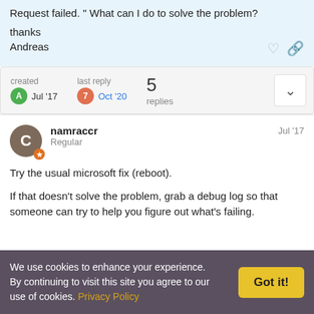Request failed. " What can I do to solve the problem?

thanks
Andreas
created Jul '17   last reply Oct '20   5 replies
namraccr   Regular   Jul '17
Try the usual microsoft fix (reboot).

If that doesn't solve the problem, grab a debug log so that someone can try to help you figure out what's failing.
We use cookies to enhance your experience. By continuing to visit this site you agree to our use of cookies. Privacy Policy